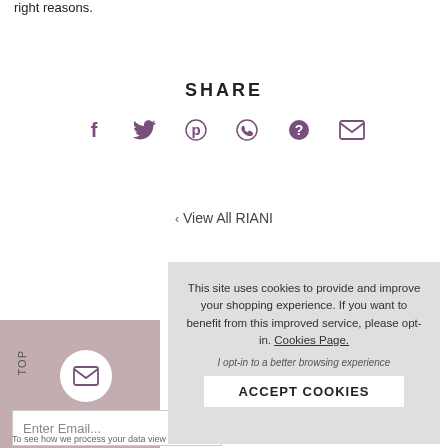right reasons.
SHARE
[Figure (infographic): Row of six social media sharing icons in purple: Facebook (f), Twitter (bird), Pinterest (P), WhatsApp (phone), unknown (?), and email (envelope)]
‹ View All RIANI
This site uses cookies to provide and improve your shopping experience. If you want to benefit from this improved service, please opt-in. Cookies Page.
I opt-in to a better browsing experience
ACCEPT COOKIES
Enter Email...
To see how we process your data view our Privacy Policy